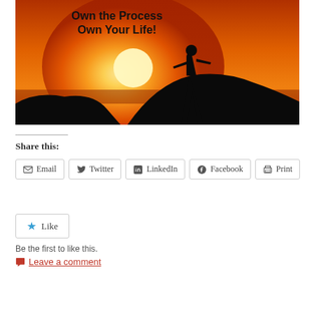[Figure (illustration): Motivational image with sunset background showing a silhouette of a person standing triumphantly on rocks with text 'Own the Process Own Your Life!']
Share this:
Email  Twitter  LinkedIn  Facebook  Print
Like
Be the first to like this.
Leave a comment